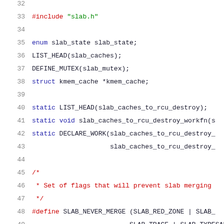32  (blank line)
33  #include "slab.h"
34  (blank line)
35  enum slab_state slab_state;
36  LIST_HEAD(slab_caches);
37  DEFINE_MUTEX(slab_mutex);
38  struct kmem_cache *kmem_cache;
39  (blank line)
40  static LIST_HEAD(slab_caches_to_rcu_destroy);
41  static void slab_caches_to_rcu_destroy_workfn(s
42  static DECLARE_WORK(slab_caches_to_rcu_destroy_
43                      slab_caches_to_rcu_destroy_
44  (blank line)
45  /*
46   * Set of flags that will prevent slab merging
47   */
48  #define SLAB_NEVER_MERGE (SLAB_RED_ZONE | SLAB_
49                           SLAB_TRACE | SLAB_TYPESAFE_BY_R
50                           SLAB_FAILSLAB | kasan_never_mer
51  (blank line)
52  #define SLAB_MERGE_SAME (SLAB_RECLAIM_ACCOUNT |